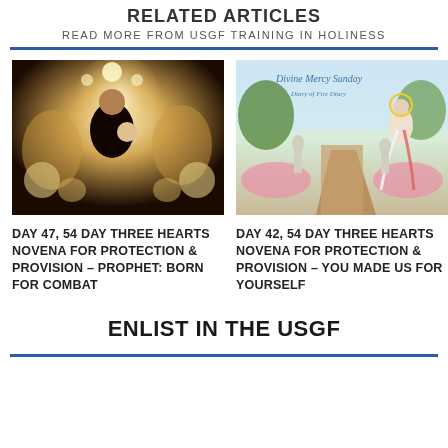RELATED ARTICLES
READ MORE FROM USGF TRAINING IN HOLINESS
[Figure (photo): Religious painting of Madonna and child surrounded by angels with glowing light]
DAY 47, 54 DAY THREE HEARTS NOVENA FOR PROTECTION & PROVISION – PROPHET: BORN FOR COMBAT
[Figure (photo): Outdoor religious garden with Divine Mercy Sunday image of Jesus, statues and flower-lined path]
DAY 42, 54 DAY THREE HEARTS NOVENA FOR PROTECTION & PROVISION – YOU MADE US FOR YOURSELF
ENLIST IN THE USGF